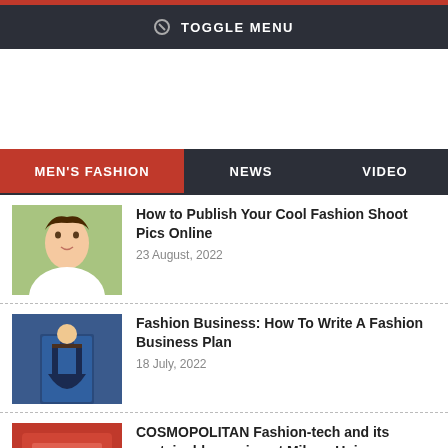TOGGLE MENU
MEN'S FASHION   NEWS   VIDEO
How to Publish Your Cool Fashion Shoot Pics Online
23 August, 2022
Fashion Business: How To Write A Fashion Business Plan
18 July, 2022
COSMOPOLITAN Fashion-tech and its sustainable version at Milano Unica